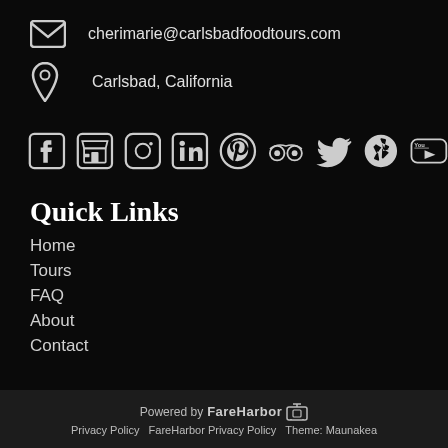cherimarie@carlsbadfoodtours.com
Carlsbad, California
[Figure (infographic): Social media icons row: Facebook, Google My Business (storefront), Instagram, LinkedIn, Pinterest, TripAdvisor (owl), Twitter, Yelp, YouTube]
Quick Links
Home
Tours
FAQ
About
Contact
Powered by FareHarbor  Privacy Policy FareHarbor Privacy Policy Theme: Maunakea